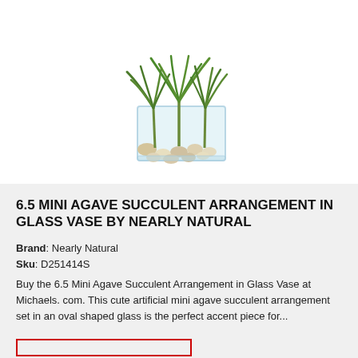[Figure (photo): Photo of a glass rectangular vase containing three mini agave succulent plants with green spiky leaves, set in decorative tan and white pebble stones, on a white background.]
6.5 MINI AGAVE SUCCULENT ARRANGEMENT IN GLASS VASE BY NEARLY NATURAL
Brand: Nearly Natural
Sku: D251414S
Buy the 6.5 Mini Agave Succulent Arrangement in Glass Vase at Michaels. com. This cute artificial mini agave succulent arrangement set in an oval shaped glass is the perfect accent piece for...